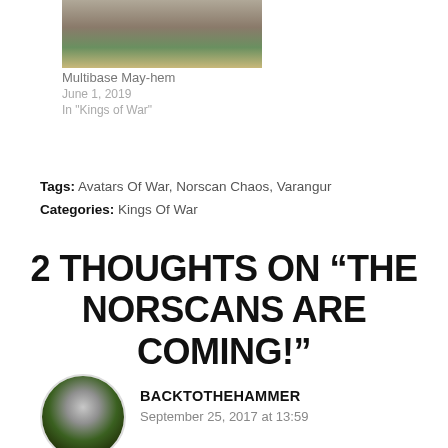[Figure (photo): Partial image of a miniature wargaming base with grass and figures visible at the top of the page]
Multibase May-hem
June 1, 2019
In "Kings of War"
Tags: Avatars Of War, Norscan Chaos, Varangur
Categories: Kings Of War
2 THOUGHTS ON “THE NORSCANS ARE COMING!”
[Figure (photo): Circular avatar photo of a painted warhammer miniature figure in silver armor with green background]
BACKTOTHEHAMMER
September 25, 2017 at 13:59